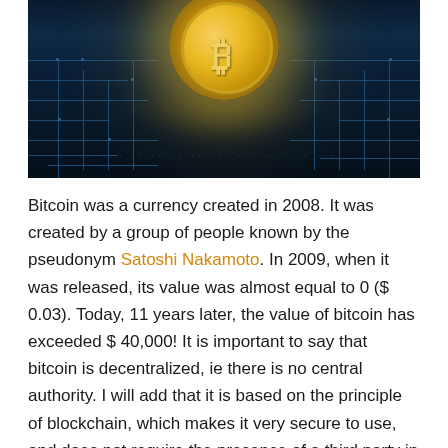[Figure (photo): A golden Bitcoin coin resting on a dark circuit board with glowing orange/gold light emanating from behind the coin, set against a dark blue-black background.]
Bitcoin was a currency created in 2008. It was created by a group of people known by the pseudonym Satoshi Nakamoto. In 2009, when it was released, its value was almost equal to 0 ($ 0.03). Today, 11 years later, the value of bitcoin has exceeded $ 40,000! It is important to say that bitcoin is decentralized, ie there is no central authority. I will add that it is based on the principle of blockchain, which makes it very secure to use, and does not require the presence of a third party in transactions. But what is it that makes it harder for beginners when it comes to bitcoin trading?